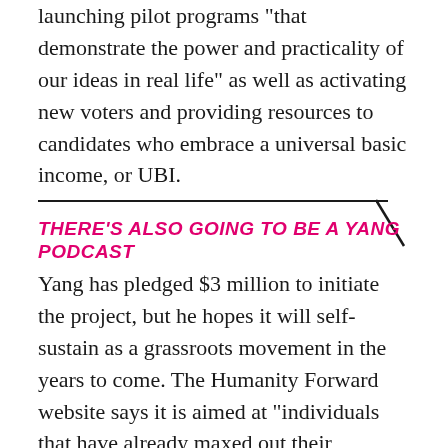launching pilot programs “that demonstrate the power and practicality of our ideas in real life” as well as activating new voters and providing resources to candidates who embrace a universal basic income, or UBI.
THERE’S ALSO GOING TO BE A YANG PODCAST
Yang has pledged $3 million to initiate the project, but he hopes it will self-sustain as a grassroots movement in the years to come. The Humanity Forward website says it is aimed at “individuals that have already maxed out their campaign donation ($2800 per individual) or who are driven to donate towards a specific initiative.”